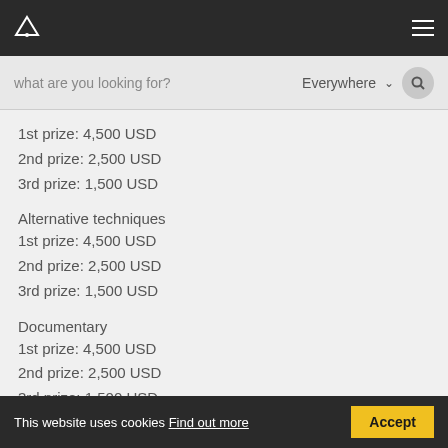Navigation bar with logo and menu icon
what are you looking for?   Everywhere
1st prize: 4,500 USD
2nd prize: 2,500 USD
3rd prize: 1,500 USD
Alternative techniques
1st prize: 4,500 USD
2nd prize: 2,500 USD
3rd prize: 1,500 USD
Documentary
1st prize: 4,500 USD
2nd prize: 2,500 USD
3rd prize: 1,500 USD
Poster
1st prize: 4,500 USD
This website uses cookies Find out more   Accept